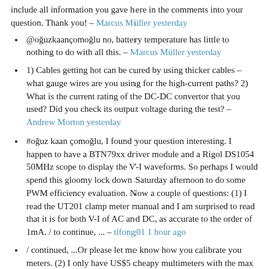include all information you gave here in the comments into your question. Thank you! – Marcus Müller yesterday
@oğuzkaançomoğlu no, battery temperature has little to nothing to do with all this. – Marcus Müller yesterday
1) Cables getting hot can be cured by using thicker cables – what gauge wires are you using for the high-current paths? 2) What is the current rating of the DC-DC convertor that you used? Did you check its output voltage during the test? – Andrew Morton yesterday
#oğuz kaan çomoğlu, I found your question interesting. I happen to have a BTN79xx driver module and a Rigol DS1054 50MHz scope to display the V-I waveforms. So perhaps I would spend this gloomy lock down Saturday afternoon to do some PWM efficiency evaluation. Now a couple of questions: (1) I read the UT201 clamp meter manual and I am surprised to read that it is for both V-I of AC and DC, as accurate to the order of 1mA. / to continue, ... – tlfong01 1 hour ago
/ continued, ...Or please let me know how you calibrate you meters. (2) I only have US$5 cheapy multimeters with the max current range of only 10A. So I will be doing small currents tests under 10A. I wonder if you have already